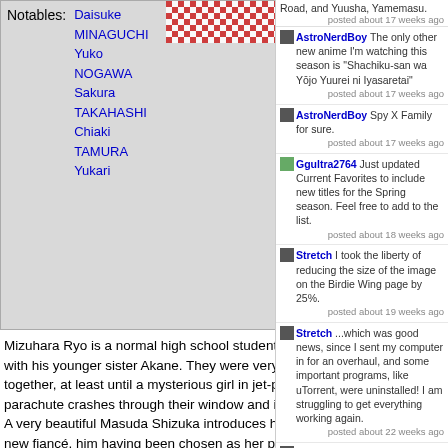Notables: Daisuke MINAGUCHI, Yuko NOGAWA, Sakura TAKAHASHI, Chiaki TAMURA, Yukari
[Figure (photo): Checkered red and white pattern image in top area]
Mizuhara Ryo is a normal high school student, living alone with his younger sister Akane. They were very happy together, at least until a mysterious girl in jet-powered parachute crashes through their window and into their lives. A very beautiful Masuda Shizuka introduces herself as Ryo's new fiancé, him having been chosen as her perfect partner by a secret supercomputer, and they are now engaged under a secret national project to address the
Road, and Yuusha, Yamemasu.
posted about 17 weeks ago
AstroNerdBoy The only other new anime I'm watching this season is "Shachiku-san wa Yōjo Yuurei ni Iyasaretai"
posted about 17 weeks ago
AstroNerdBoy Spy X Family for sure.
posted about 17 weeks ago
Ggultra2764 Just updated Current Favorites to include new titles for the Spring season. Feel free to add to the list.
posted about 18 weeks ago
Stretch I took the liberty of reducing the size of the image on the Birdie Wing page by 25%.
posted about 19 weeks ago
Stretch ...which was good news, since I sent my computer in for an overhaul, and some important programs, like uTorrent, were uninstalled! I am struggling to get everything working again.
posted about 22 weeks ago
Stretch OK, I have reset my password (I didn't know I could do that until now).
posted about 24 weeks ago
Current Favorites [edit]
Made in Abyss: Retsujitsu no Ougonkyou
Summertime Rendering
Yurei Deco
Best bets...
Rurouni Kenshin: ...
Trigun
Cowboy Bebop
Full Metal Panic ...